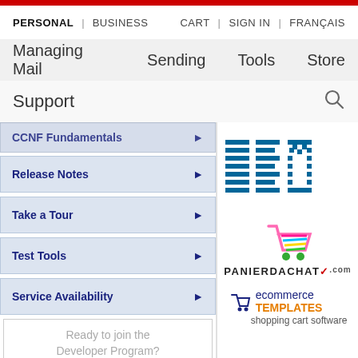PERSONAL | BUSINESS | CART | SIGN IN | FRANÇAIS
Managing Mail   Sending   Tools   Store
Support
CCNF Fundamentals ▶
Release Notes ▶
Take a Tour ▶
Test Tools ▶
Service Availability ▶
Ready to join the Developer Program?
[Figure (logo): IBM logo in blue horizontal stripes]
[Figure (logo): Panierdachat.com logo with colorful shopping cart icon]
[Figure (logo): ecommerce TEMPLATES shopping cart software logo]